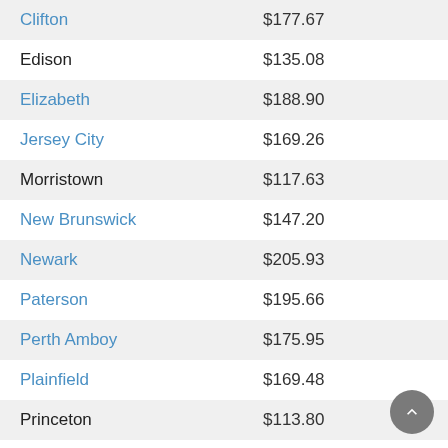| City | Amount |
| --- | --- |
| Clifton | $177.67 |
| Edison | $135.08 |
| Elizabeth | $188.90 |
| Jersey City | $169.26 |
| Morristown | $117.63 |
| New Brunswick | $147.20 |
| Newark | $205.93 |
| Paterson | $195.66 |
| Perth Amboy | $175.95 |
| Plainfield | $169.48 |
| Princeton | $113.80 |